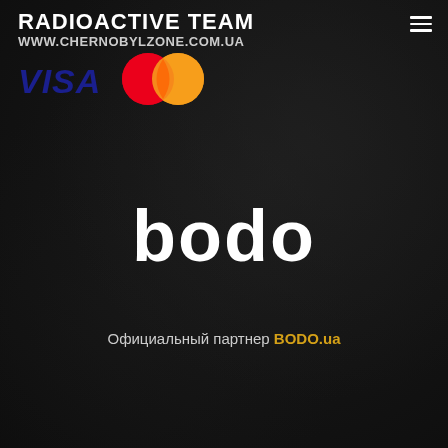[Figure (logo): Radioactive Team logo with text RADIOACTIVE TEAM and WWW.CHERNOBYLZONE.COM.UA, accompanied by VISA and Mastercard payment logos]
[Figure (logo): bodo logo in white lowercase text on dark background]
Официальный партнер BODO.ua